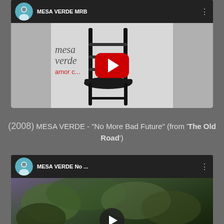[Figure (screenshot): YouTube video thumbnail for MESA VERDE MRB showing album art with a chair on a white background, mesa verde and amor text visible, with red YouTube play button overlay]
(2008) MESA VERDE - "No More Bad Future" (from 'The Old Road')
[Figure (screenshot): YouTube video thumbnail for MESA VERDE No... showing dark nature/forest background with The Old Road album art visible, with dark play button overlay]